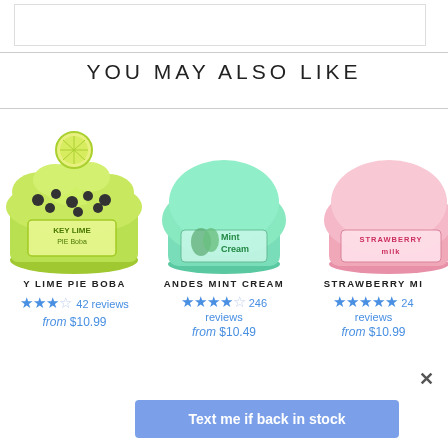YOU MAY ALSO LIKE
[Figure (photo): Key Lime Pie Boba slime product in a yellow-green jar with lime and boba toppings]
Y LIME PIE BOBA
★★★☆ 42 reviews
from $10.99
[Figure (photo): Andes Mint Cream slime product in a mint green mushroom-shaped jar]
ANDES MINT CREAM
★★★★☆ 246 reviews
from $10.49
[Figure (photo): Strawberry Milk slime product in a pink jar, partially cropped]
STRAWBERRY MI...
★★★★★ 24... reviews
from $10.99
Text me if back in stock